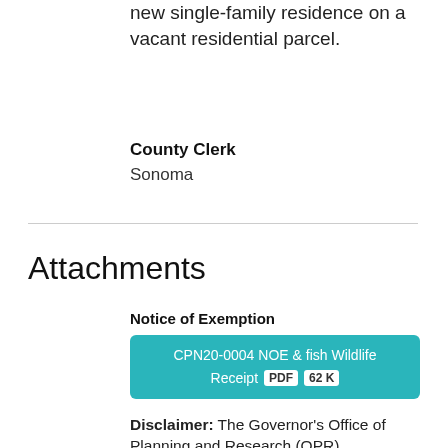new single-family residence on a vacant residential parcel.
County Clerk
Sonoma
Attachments
Notice of Exemption
CPN20-0004 NOE & fish Wildlife Receipt PDF 62K
Disclaimer: The Governor's Office of Planning and Research (OPR)